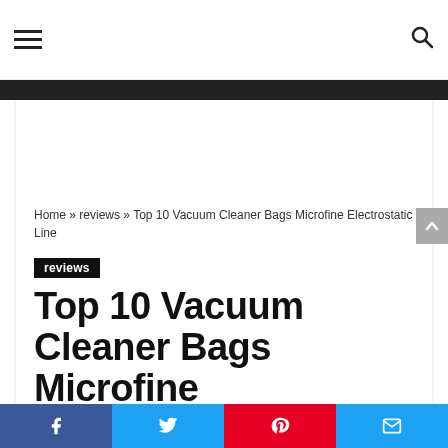☰  🔍
Home » reviews » Top 10 Vacuum Cleaner Bags Microfine Electrostatic Line
reviews
Top 10 Vacuum Cleaner Bags Microfine Electrostatic Line
thepanamnyc · August 2, 2020 · 👁 3 💬